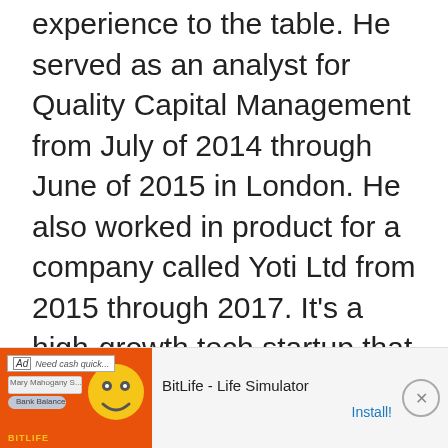experience to the table. He served as an analyst for Quality Capital Management from July of 2014 through June of 2015 in London. He also worked in product for a company called Yoti Ltd from 2015 through 2017. It's a high-growth tech startup that focuses on ID. He left this job to start Marshmallow with his brother.
[Figure (other): Advertisement banner for BitLife - Life Simulator app with orange background, smiley face graphic, and Install button]